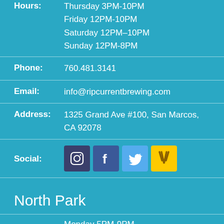Hours: Thursday 3PM-10PM
Friday 12PM-10PM
Saturday 12PM–10PM
Sunday 12PM-8PM
Phone: 760.481.3141
Email: info@ripcurrentbrewing.com
Address: 1325 Grand Ave #100, San Marcos, CA 92078
Social: [Instagram, Facebook, Twitter, Untappd icons]
North Park
Monday 5PM-9PM